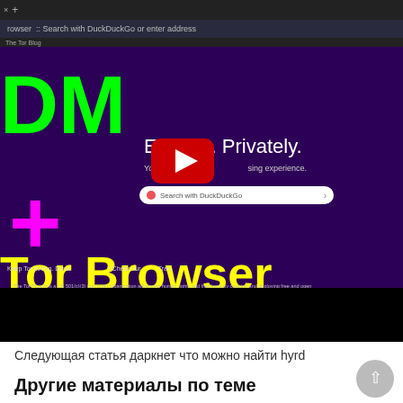[Figure (screenshot): Screenshot of a browser showing a YouTube video thumbnail/player for Tor Browser + DM content. The video shows a purple background with 'DM' in green, a magenta plus sign, 'Tor Browser' in yellow, 'Explore. Privately.' in white, a DuckDuckGo search bar, and a YouTube play button overlay. Below is a black bar.]
Следующая статья даркнет что можно найти hyrd
Другие материалы по теме